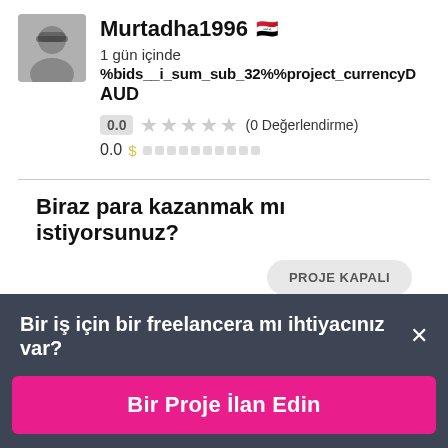[Figure (photo): Profile photo of a man wearing sunglasses, black and white]
Murtadha1996 🇮🇶
1 gün içinde
%bids__i_sum_sub_32%%project_currencyD
AUD
0.0 ★★★★★ (0 Değerlendirme)
0.0 $ ▓▓▓▓▓▓▓▓▓▓
Biraz para kazanmak mı istiyorsunuz?
PROJE KAPALI
Bir iş için bir freelancera mı ihtiyacınız var? ×
Bir Proje İlan Edin